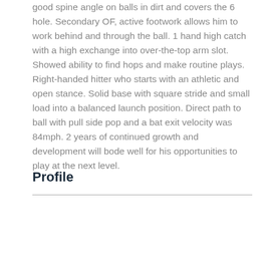good spine angle on balls in dirt and covers the 6 hole. Secondary OF, active footwork allows him to work behind and through the ball. 1 hand high catch with a high exchange into over-the-top arm slot. Showed ability to find hops and make routine plays. Right-handed hitter who starts with an athletic and open stance. Solid base with square stride and small load into a balanced launch position. Direct path to ball with pull side pop and a bat exit velocity was 84mph. 2 years of continued growth and development will bode well for his opportunities to play at the next level.
Profile
Andrew Nielsen
Merrimack, NH
info@factoryathletics.com
800-641-4487